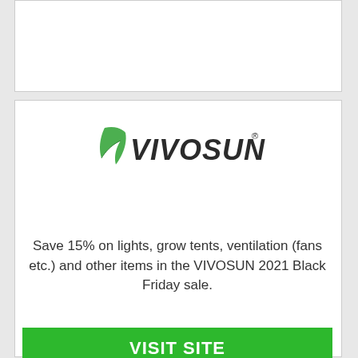[Figure (logo): VIVOSUN brand logo with green leaf and bold dark italic text]
Save 15% on lights, grow tents, ventilation (fans etc.) and other items in the VIVOSUN 2021 Black Friday sale.
VISIT SITE